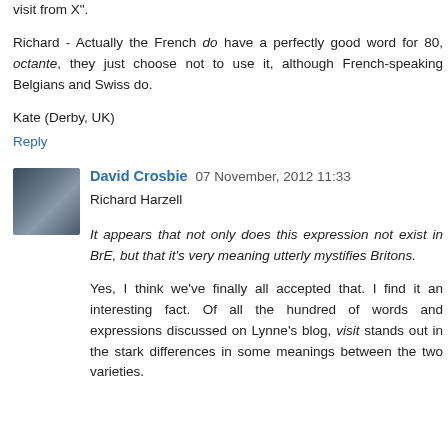visit from X".
Richard - Actually the French do have a perfectly good word for 80, octante, they just choose not to use it, although French-speaking Belgians and Swiss do.
Kate (Derby, UK)
Reply
David Crosbie  07 November, 2012 11:33
Richard Harzell
It appears that not only does this expression not exist in BrE, but that it's very meaning utterly mystifies Britons.
Yes, I think we've finally all accepted that. I find it an interesting fact. Of all the hundred of words and expressions discussed on Lynne's blog, visit stands out in the stark differences in some meanings between the two varieties.